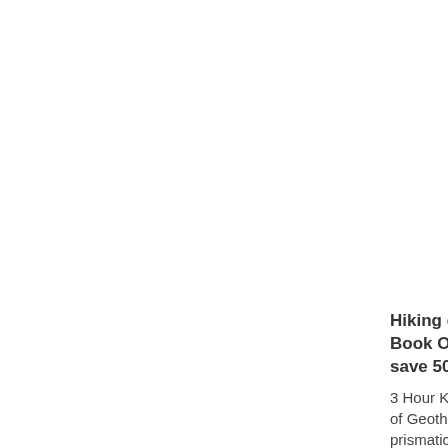Hiking excursion - Book Online and save 50$
3 Hour Kayak Tour of Geothermals! prismatictours.com